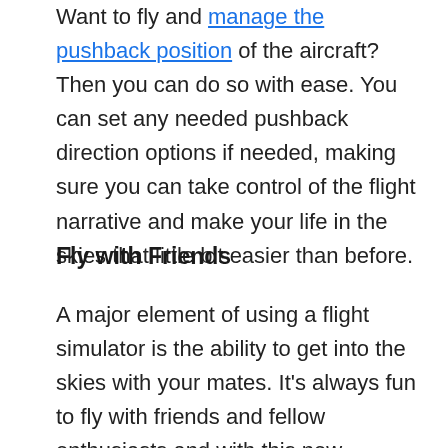Want to fly and manage the pushback position of the aircraft? Then you can do so with ease. You can set any needed pushback direction options if needed, making sure you can take control of the flight narrative and make your life in the skies that little bit easier than before.
Fly with Friends
A major element of using a flight simulator is the ability to get into the skies with your mates. It's always fun to fly with friends and fellow enthusiasts and with this new network system, you can do that with ease. More importantly, though, this allows you to control the aircraft using network computers using specific definitions and actions. This also works alongside other major features